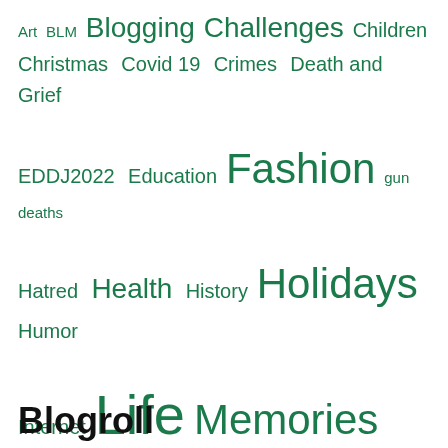[Figure (infographic): Tag cloud with various blog category tags in different sizes, all in green color. Tags include: Art, BLM, Blogging, Challenges, Children, Christmas, Covid 19, Crimes, Death and Grief, EDDJ2022, Education, Fashion, gun deaths, Hatred, Health, History, Holidays, Humor, Internet, Life, Memories, Movies and Books, People, Politics, Recipes, Religion, Sex, Uncategorized, Women, Writing]
Blogroll